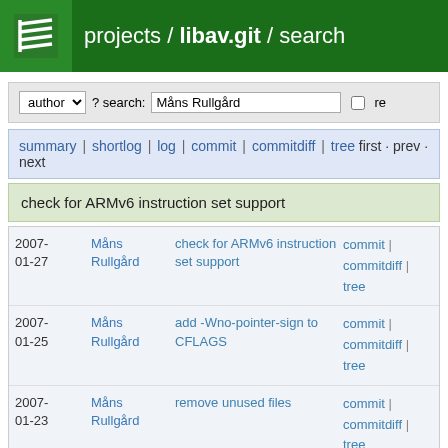projects / libav.git / search
author ? search: Måns Rullgård  re
summary | shortlog | log | commit | commitdiff | tree first · prev · next
check for ARMv6 instruction set support
| date | author | message | links |
| --- | --- | --- | --- |
| 2007-01-27 | Måns Rullgård | check for ARMv6 instruction set support | commit | commitdiff | tree |
| 2007-01-25 | Måns Rullgård | add -Wno-pointer-sign to CFLAGS | commit | commitdiff | tree |
| 2007-01-23 | Måns Rullgård | remove unused files | commit | commitdiff | tree |
| 2007-01-21 | Måns Rullgård | remove the last #ifdef from allcodecs.c | commit | commitdiff | |